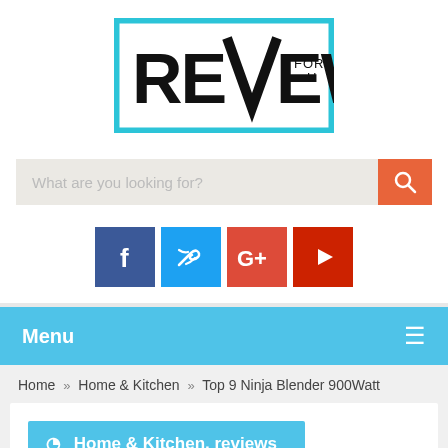[Figure (logo): Reviews For U logo with teal border box and bold black text]
[Figure (screenshot): Search bar with placeholder 'What are you looking for?' and orange search button]
[Figure (screenshot): Social media icons: Facebook (dark blue), Twitter (light blue), Google+ (orange-red), YouTube (red)]
Menu ≡
Home » Home & Kitchen » Top 9 Ninja Blender 900Watt
🌐 Home & Kitchen, reviews